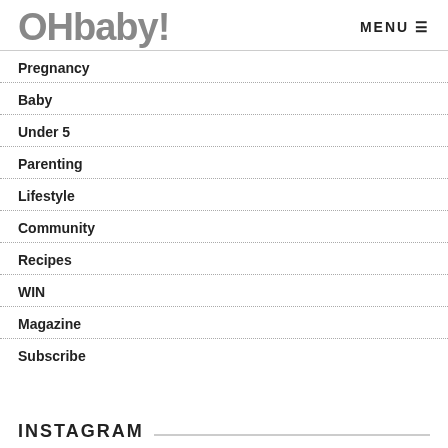OHbaby! MENU
Pregnancy
Baby
Under 5
Parenting
Lifestyle
Community
Recipes
WIN
Magazine
Subscribe
INSTAGRAM